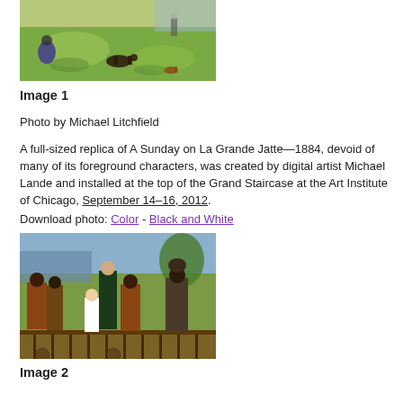[Figure (photo): A Sunday on La Grande Jatte painting detail showing figures on grass with a dog]
Image 1
Photo by Michael Litchfield
A full-sized replica of A Sunday on La Grande Jatte—1884, devoid of many of its foreground characters, was created by digital artist Michael Lande and installed at the top of the Grand Staircase at the Art Institute of Chicago, September 14–16, 2012.
Download photo: Color - Black and White
[Figure (photo): Group of people in period costume standing in front of the La Grande Jatte replica painting]
Image 2